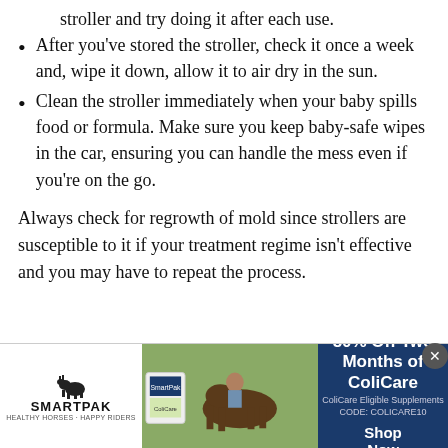stroller and try doing it after each use.
After you've stored the stroller, check it once a week and, wipe it down, allow it to air dry in the sun.
Clean the stroller immediately when your baby spills food or formula. Make sure you keep baby-safe wipes in the car, ensuring you can handle the mess even if you're on the go.
Always check for regrowth of mold since strollers are susceptible to it if your treatment regime isn't effective and you may have to repeat the process.
[Figure (infographic): SmartPak advertisement banner: 50% Off Two Months of ColiCare, ColiCare Eligible Supplements, CODE: COLICARE10, Shop Now]